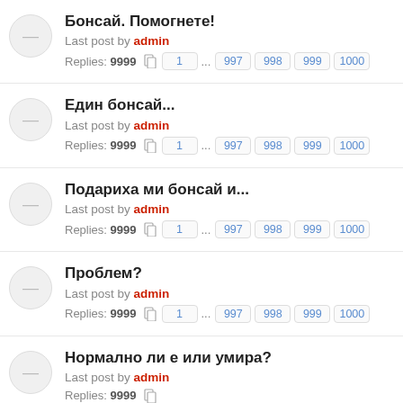Бонсай. Помогнете! — Last post by admin — Replies: 9999 — Pages: 1 ... 997 998 999 1000
Един бонсай... — Last post by admin — Replies: 9999 — Pages: 1 ... 997 998 999 1000
Подариха ми бонсай и... — Last post by admin — Replies: 9999 — Pages: 1 ... 997 998 999 1000
Проблем? — Last post by admin — Replies: 9999 — Pages: 1 ... 997 998 999 1000
Нормално ли е или умира? — Last post by admin — Replies: 9999